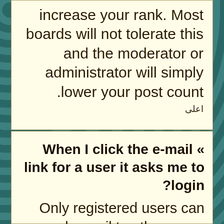increase your rank. Most boards will not tolerate this and the moderator or administrator will simply lower your post count.
اعلى
« When I click the e-mail link for a user it asks me to login?
Only registered users can send e-mail to other users via the built-in e-mail form. and